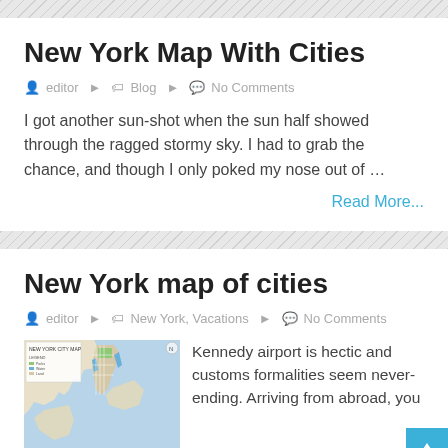New York Map With Cities
editor   Blog   No Comments
I got another sun-shot when the sun half showed through the ragged stormy sky. I had to grab the chance, and though I only poked my nose out of …
Read More...
New York map of cities
editor   New York, Vacations   No Comments
[Figure (map): New York City Map showing streets and geography]
Kennedy airport is hectic and customs formalities seem never-ending. Arriving from abroad, you